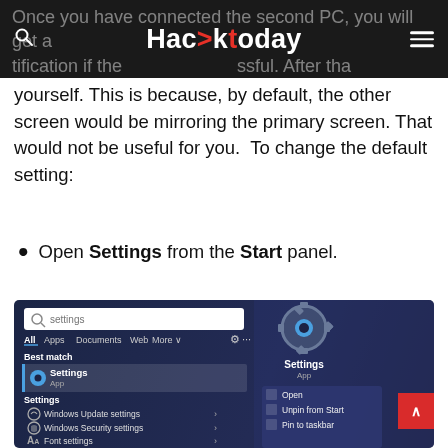Hack>today
Once you have connected the second PC, you will get a notification if the connection is successful. After that, you will have to do some settings to make it useful for yourself. This is because, by default, the other screen would be mirroring the primary screen. That would not be useful for you.  To change the default setting:
Open Settings from the Start panel.
[Figure (screenshot): Windows 11 Start menu showing a search for 'settings'. Left column shows Best match: Settings App, with sub-results: Windows Update settings, Windows Security settings, Font settings. Right column shows Settings app icon with context menu options: Open, Unpin from Start, Pin to taskbar.]